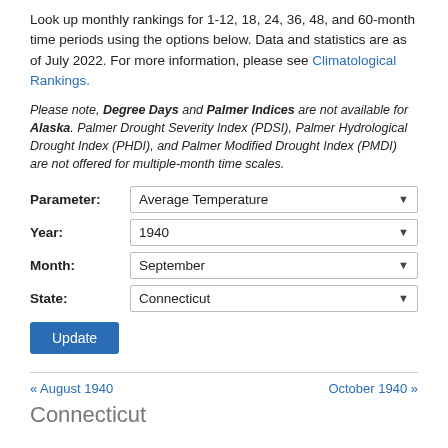Look up monthly rankings for 1-12, 18, 24, 36, 48, and 60-month time periods using the options below. Data and statistics are as of July 2022. For more information, please see Climatological Rankings.
Please note, Degree Days and Palmer Indices are not available for Alaska. Palmer Drought Severity Index (PDSI), Palmer Hydrological Drought Index (PHDI), and Palmer Modified Drought Index (PMDI) are not offered for multiple-month time scales.
Parameter: Average Temperature
Year: 1940
Month: September
State: Connecticut
Update
« August 1940
October 1940 »
Connecticut